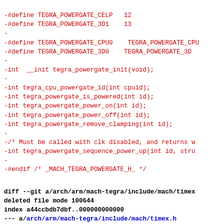-#define TEGRA_POWERGATE_CELP   12
-#define TEGRA_POWERGATE_3D1    13
-
-#define TEGRA_POWERGATE_CPU0    TEGRA_POWERGATE_CPU
-#define TEGRA_POWERGATE_3D0    TEGRA_POWERGATE_3D
-
-int  __init tegra_powergate_init(void);
-
-int tegra_cpu_powergate_id(int cpuid);
-int tegra_powergate_is_powered(int id);
-int tegra_powergate_power_on(int id);
-int tegra_powergate_power_off(int id);
-int tegra_powergate_remove_clamping(int id);
-
-/* Must be called with clk disabled, and returns w
-int tegra_powergate_sequence_power_up(int id, stru
-
-#endif /* _MACH_TEGRA_POWERGATE_H_ */
diff --git a/arch/arm/mach-tegra/include/mach/timex
deleted file mode 100644
index a44ccbdb7dbf..000000000000
--- a/arch/arm/mach-tegra/include/mach/timex.h
+++ /dev/null
@@ -1,26 +0,0 @@
-/*
- * arch/arm/mach-tegra/include/mach/timex.h
- *
- * Copyright (C) 2010 Google, Inc.
- *
- * Author: